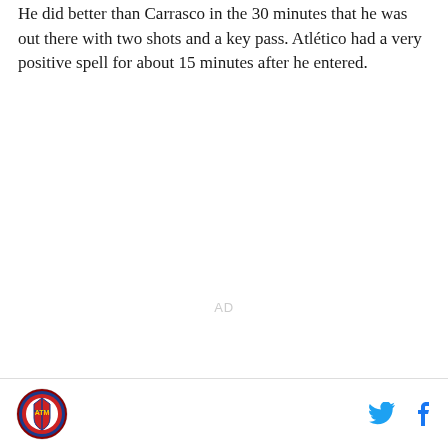He did better than Carrasco in the 30 minutes that he was out there with two shots and a key pass. Atlético had a very positive spell for about 15 minutes after he entered.
AD
Site logo and social media icons (Twitter, Facebook)